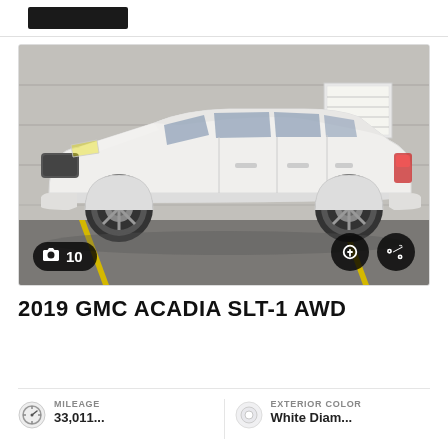[Figure (photo): Dealership logo/header bar at top of page, black rectangle on white background]
[Figure (photo): White 2019 GMC Acadia SLT-1 AWD SUV parked in a parking lot, side profile view, against a concrete wall background. Parking lot has yellow parking lines. Photo shows the vehicle has dark alloy wheels. A sign is visible on the windshield. Photo badge shows '10' photos. Two circular buttons (save/share) in bottom right corner.]
2019 GMC ACADIA SLT-1 AWD
MILEAGE
EXTERIOR COLOR
White Diamond